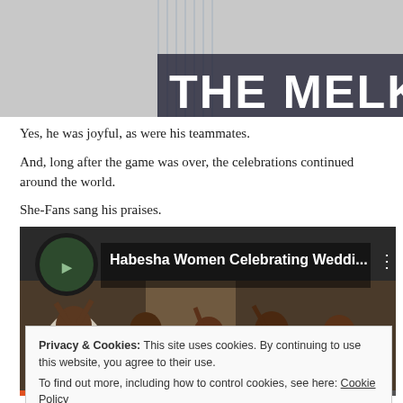[Figure (photo): Top portion of 'The Melky Way' image showing a baseball player in pinstripe uniform with large white text 'THE MELKY WAY' overlaid]
Yes, he was joyful, as were his teammates.
And, long after the game was over, the celebrations continued around the world.
She-Fans sang his praises.
[Figure (screenshot): Embedded YouTube video thumbnail showing 'Habesha Women Celebrating Weddi...' with women in white garments celebrating, dark background with video overlay controls]
Privacy & Cookies: This site uses cookies. By continuing to use this website, you agree to their use.
To find out more, including how to control cookies, see here: Cookie Policy
Close and accept